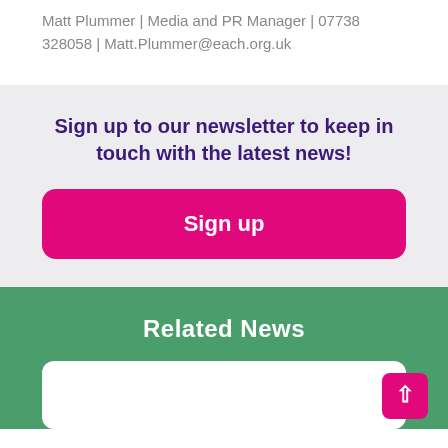Matt Plummer | Media and PR Manager | 07738 328058 | Matt.Plummer@each.org.uk
Sign up to our newsletter to keep in touch with the latest news!
Sign up
Related News